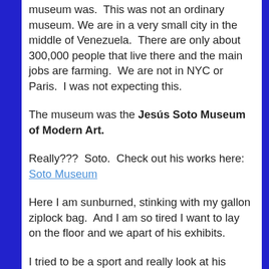museum was.  This was not an ordinary museum. We are in a very small city in the middle of Venezuela.  There are only about 300,000 people that live there and the main jobs are farming.  We are not in NYC or Paris.  I was not expecting this.
The museum was the Jesús Soto Museum of Modern Art.
Really???  Soto.  Check out his works here:  Soto Museum
Here I am sunburned, stinking with my gallon ziplock bag.  And I am so tired I want to lay on the floor and we apart of his exhibits.
I tried to be a sport and really look at his work.  Since then I have seen his creations in other museums and I terribly regret how tired I was.
Then I turned the corner.. there it was.  Moonwalk, Andy Warhol.  Really? In the middle of Venezuela.  I have more